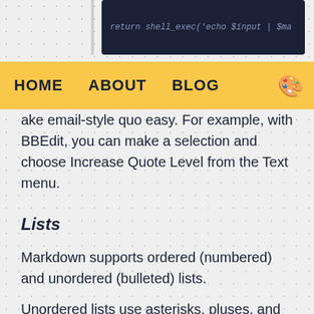[Figure (screenshot): Dark code block showing: return shell_exec('echo $input | $ma...'}]
HOME   ABOUT   BLOG
ake email-style quo easy. For example, with BBEdit, you can make a selection and choose Increase Quote Level from the Text menu.
Lists
Markdown supports ordered (numbered) and unordered (bulleted) lists.
Unordered lists use asterisks, pluses, and hyphens -- interchangably -- as list markers:
Red